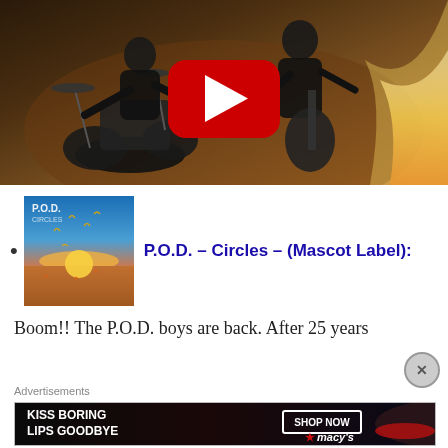[Figure (screenshot): YouTube video thumbnail showing a band performing with a drummer and guitarist, warm sepia-toned lighting with fire, YouTube play button overlay]
P.O.D. – Circles – (Mascot Label):
[Figure (photo): P.O.D. Circles album cover showing birds over a sunset ocean scene]
Boom!!  The P.O.D. boys are back.  After 25 years
[partially obscured line]
Advertisements
[Figure (photo): Macy's advertisement: 'KISS BORING LIPS GOODBYE' with SHOP NOW button and Macy's star logo, featuring a woman with red lips]